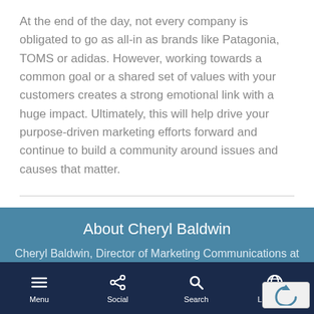At the end of the day, not every company is obligated to go as all-in as brands like Patagonia, TOMS or adidas. However, working towards a common goal or a shared set of values with your customers creates a strong emotional link with a huge impact. Ultimately, this will help drive your purpose-driven marketing efforts forward and continue to build a community around issues and causes that matter.
About Cheryl Baldwin
Cheryl Baldwin, Director of Marketing Communications at WSI, oversees WSI's Marketing Department. She's an integral part of the WSI global brand presence and corporate identity.